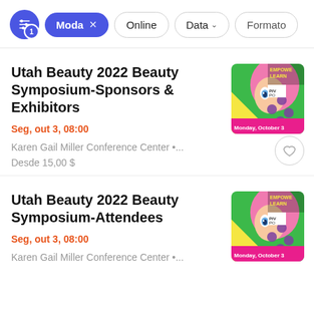Moda × | Online | Data ∨ | Formato
Utah Beauty 2022 Beauty Symposium-Sponsors & Exhibitors
Seg, out 3, 08:00
Karen Gail Miller Conference Center •...
Desde 15,00 $
[Figure (illustration): Event thumbnail showing illustrated pink-haired character on green background with text EMPOWER, LEARN, Monday October 3]
Utah Beauty 2022 Beauty Symposium-Attendees
Seg, out 3, 08:00
Karen Gail Miller Conference Center •...
[Figure (illustration): Event thumbnail showing illustrated pink-haired character on green background with text EMPOWER, LEARN, Monday October 3]